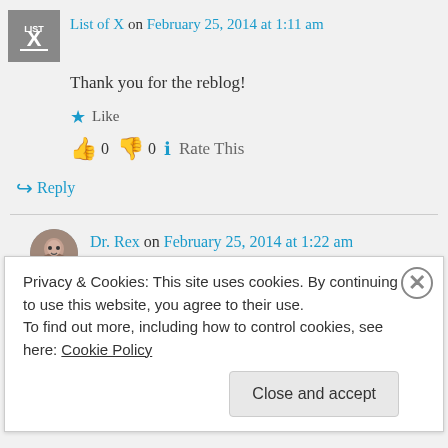List of X on February 25, 2014 at 1:11 am
Thank you for the reblog!
Like
👍 0 👎 0 ℹ Rate This
↪ Reply
Dr. Rex on February 25, 2014 at 1:22 am
Privacy & Cookies: This site uses cookies. By continuing to use this website, you agree to their use.
To find out more, including how to control cookies, see here: Cookie Policy
Close and accept